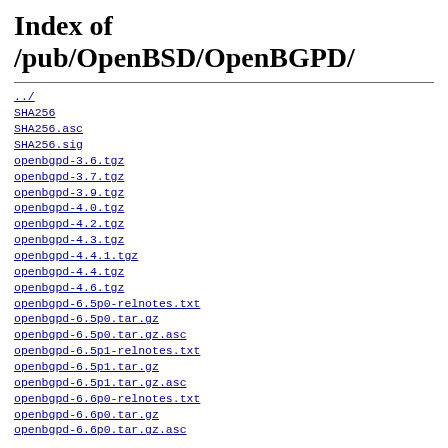Index of /pub/OpenBSD/OpenBGPD/
../
SHA256
SHA256.asc
SHA256.sig
openbgpd-3.6.tgz
openbgpd-3.7.tgz
openbgpd-3.9.tgz
openbgpd-4.0.tgz
openbgpd-4.2.tgz
openbgpd-4.3.tgz
openbgpd-4.4.1.tgz
openbgpd-4.4.tgz
openbgpd-4.6.tgz
openbgpd-6.5p0-relnotes.txt
openbgpd-6.5p0.tar.gz
openbgpd-6.5p0.tar.gz.asc
openbgpd-6.5p1-relnotes.txt
openbgpd-6.5p1.tar.gz
openbgpd-6.5p1.tar.gz.asc
openbgpd-6.6p0-relnotes.txt
openbgpd-6.6p0.tar.gz
openbgpd-6.6p0.tar.gz.asc